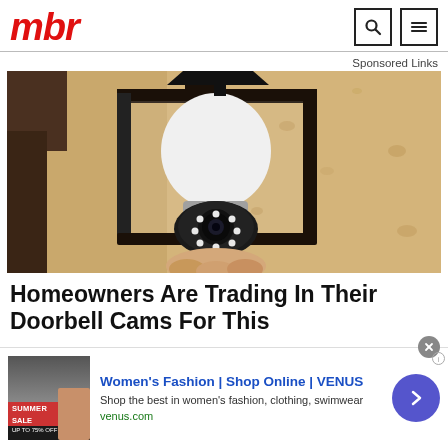mbr
Sponsored Links
[Figure (photo): A smart security camera shaped like a light bulb installed inside a black metal outdoor wall lantern fixture, mounted on a textured stucco wall.]
Homeowners Are Trading In Their Doorbell Cams For This
[Figure (screenshot): Advertisement banner: Women's Fashion | Shop Online | VENUS. Shop the best in women's fashion, clothing, swimwear. venus.com. Shows a summer sale promotional image with a woman, and a blue circular arrow button on the right.]